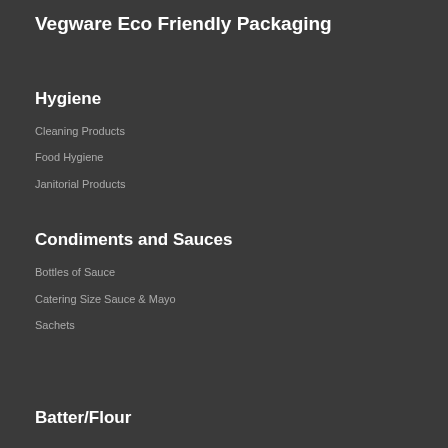Vegware Eco Friendly Packaging
Hygiene
Cleaning Products
Food Hygiene
Janitorial Products
Condiments and Sauces
Bottles of Sauce
Catering Size Sauce & Mayo
Sachets
Batter/Flour